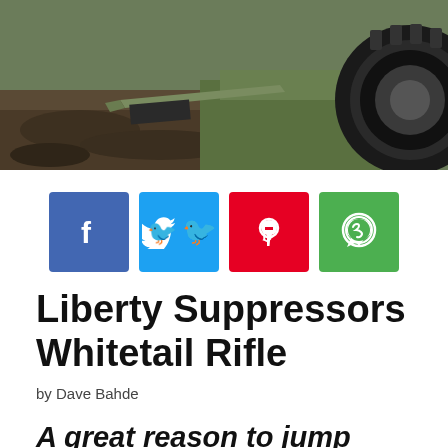[Figure (photo): Outdoor scene showing a rifle suppressor or barrel near muddy ground with grass and a large tire visible on the right side]
[Figure (infographic): Four social media share buttons: Facebook (blue), Twitter (light blue), Pinterest (red), WhatsApp (green)]
Liberty Suppressors Whitetail Rifle
by Dave Bahde
A great reason to jump through flaming ATF hoops